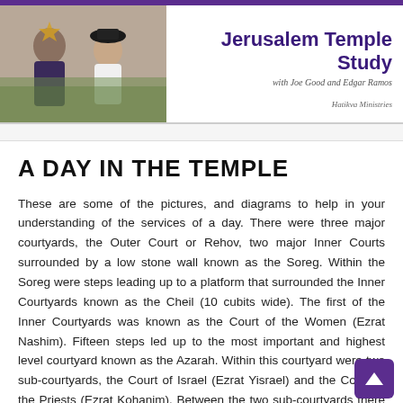[Figure (photo): Two men in traditional Jewish attire outdoors, used as header image for Jerusalem Temple Study]
Jerusalem Temple Study
with Joe Good and Edgar Ramos
Hatikva Ministries
A DAY IN THE TEMPLE
These are some of the pictures, and diagrams to help in your understanding of the services of a day. There were three major courtyards, the Outer Court or Rehov, two major Inner Courts surrounded by a low stone wall known as the Soreg. Within the Soreg were steps leading up to a platform that surrounded the Inner Courtyards known as the Cheil (10 cubits wide). The first of the Inner Courtyards was known as the Court of the Women (Ezrat Nashim). Fifteen steps led up to the most important and highest level courtyard known as the Azarah. Within this courtyard were two sub-courtyards, the Court of Israel (Ezrat Yisrael) and the Court of the Priests (Ezrat Kohanim). Between the two sub-courtyards there was a